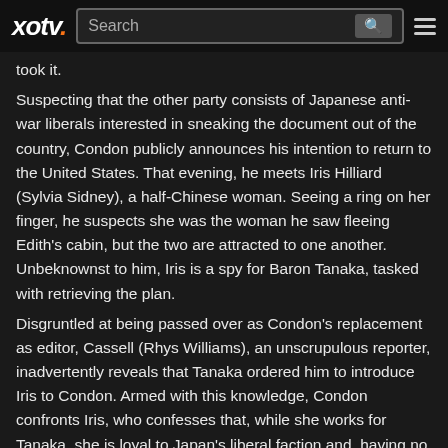xotv. Search
took it.
Suspecting that the other party consists of Japanese anti-war liberals interested in sneaking the document out of the country, Condon publicly announces his intention to return to the United States. That evening, he meets Iris Hilliard (Sylvia Sidney), a half-Chinese woman. Seeing a ring on her finger, he suspects she was the woman he saw fleeing Edith's cabin, but the two are attracted to one another. Unbeknownst to him, Iris is a spy for Baron Tanaka, tasked with retrieving the plan.
Disgruntled at being passed over as Condon's replacement as editor, Cassell (Rhys Williams), an unscrupulous reporter, inadvertently reveals that Tanaka ordered him to introduce Iris to Condon. Armed with this knowledge, Condon confronts Iris, who confesses that, while she works for Tanaka, she is loyal to Japan's liberal faction and, having no fear of the Emperor's portrait, she herself took the Tanaka Memorial from his house. Condon takes the document and leaves. Eavesdropping on their conversation,